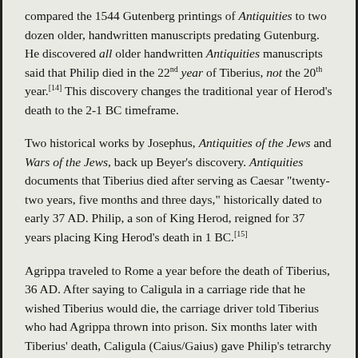compared the 1544 Gutenberg printings of Antiquities to two dozen older, handwritten manuscripts predating Gutenburg. He discovered all older handwritten Antiquities manuscripts said that Philip died in the 22nd year of Tiberius, not the 20th year.[14] This discovery changes the traditional year of Herod's death to the 2-1 BC timeframe.
Two historical works by Josephus, Antiquities of the Jews and Wars of the Jews, back up Beyer's discovery. Antiquities documents that Tiberius died after serving as Caesar "twenty-two years, five months and three days," historically dated to early 37 AD. Philip, a son of King Herod, reigned for 37 years placing King Herod's death in 1 BC.[15]
Agrippa traveled to Rome a year before the death of Tiberius, 36 AD. After saying to Caligula in a carriage ride that he wished Tiberius would die, the carriage driver told Tiberius who had Agrippa thrown into prison. Six months later with Tiberius' death, Caligula (Caius/Gaius) gave Philip's tetrarchy